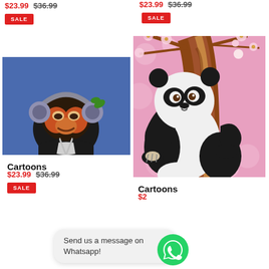$23.99 $36.99
SALE
$23.99 $36.99
SALE
[Figure (photo): Cartoon-style painting of a chimpanzee/monkey wearing headphones on a blue background]
Cartoons
$23.99 $36.99
SALE
[Figure (photo): Cartoon-style painting of a panda bear climbing a tree with pink cherry blossoms]
Cartoons
Send us a message on Whatsapp!